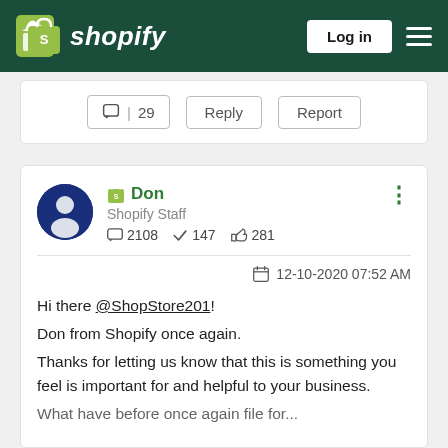Shopify — Log in
[Figure (screenshot): Partial previous post with like (29), Reply, and Report buttons]
Don
Shopify Staff
2108  147  281
12-10-2020 07:52 AM
Hi there @ShopStore201!
Don from Shopify once again.
Thanks for letting us know that this is something you feel is important for and helpful to your business.
What have before once again file for...